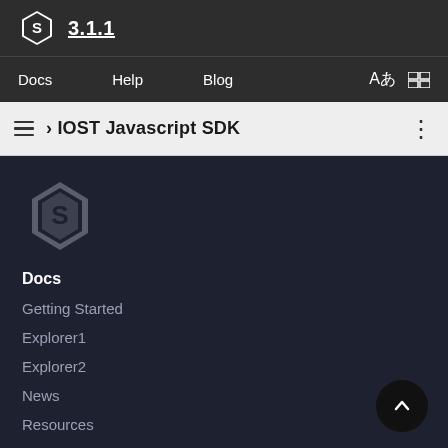3.1.1
Docs  Help  Blog
› IOST Javascript SDK
[Figure (logo): IOST hexagon logo in gray on dark background]
Docs
Getting Started
Explorer1
Explorer2
News
Resources